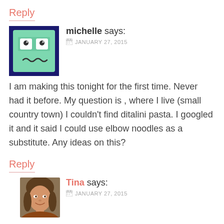Reply
michelle says:
JANUARY 27, 2015
I am making this tonight for the first time. Never had it before. My question is , where I live (small country town) I couldn't find ditalini pasta. I googled it and it said I could use elbow noodles as a substitute. Any ideas on this?
Reply
Tina says:
JANUARY 27, 2015